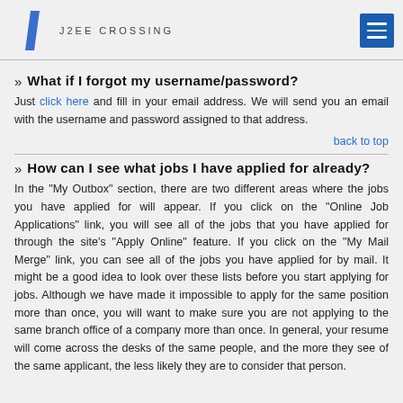J2EE CROSSING
What if I forgot my username/password?
Just click here and fill in your email address. We will send you an email with the username and password assigned to that address.
back to top
How can I see what jobs I have applied for already?
In the "My Outbox" section, there are two different areas where the jobs you have applied for will appear. If you click on the "Online Job Applications" link, you will see all of the jobs that you have applied for through the site's "Apply Online" feature. If you click on the "My Mail Merge" link, you can see all of the jobs you have applied for by mail. It might be a good idea to look over these lists before you start applying for jobs. Although we have made it impossible to apply for the same position more than once, you will want to make sure you are not applying to the same branch office of a company more than once. In general, your resume will come across the desks of the same people, and the more they see of the same applicant, the less likely they are to consider that person.